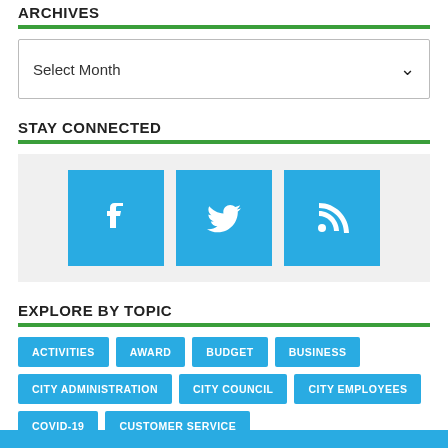ARCHIVES
Select Month
STAY CONNECTED
[Figure (infographic): Three social media icon buttons in blue: Facebook (f), Twitter (bird), and RSS feed icons]
EXPLORE BY TOPIC
ACTIVITIES
AWARD
BUDGET
BUSINESS
CITY ADMINISTRATION
CITY COUNCIL
CITY EMPLOYEES
COVID-19
CUSTOMER SERVICE